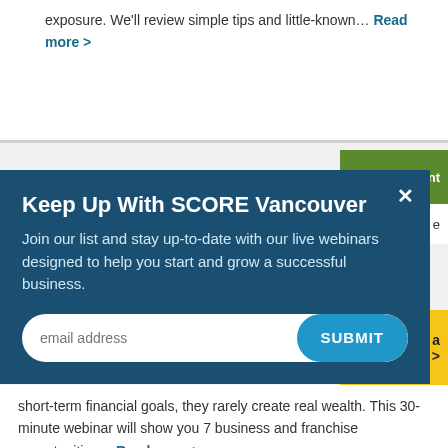exposure. We'll review simple tips and little-known... Read more >
[Figure (screenshot): Register Now button in dark teal/navy blue with right-pointing arrow]
[Figure (screenshot): Modal popup overlay on SCORE Vancouver website with email signup form. Title: Keep Up With SCORE Vancouver. Body: Join our list and stay up-to-date with our live webinars designed to help you start and grow a successful business. Email address input and SUBMIT button.]
short-term financial goals, they rarely create real wealth. This 30-minute webinar will show you 7 business and franchise opportunities... Read more >